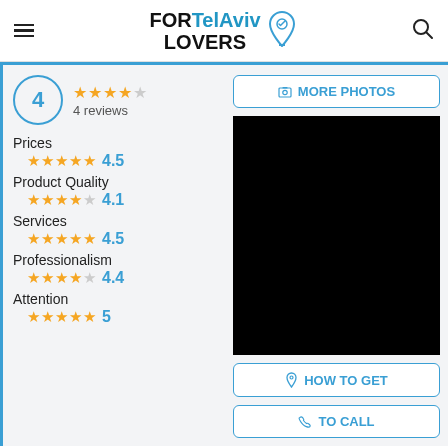FORTelAviv LOVERS
4 — 4 reviews — ★★★★☆
Prices ★★★★★ 4.5
Product Quality ★★★★☆ 4.1
Services ★★★★★ 4.5
Professionalism ★★★★☆ 4.4
Attention ★★★★★ 5
[Figure (photo): Black photo area (image content not visible)]
MORE PHOTOS
HOW TO GET
TO CALL